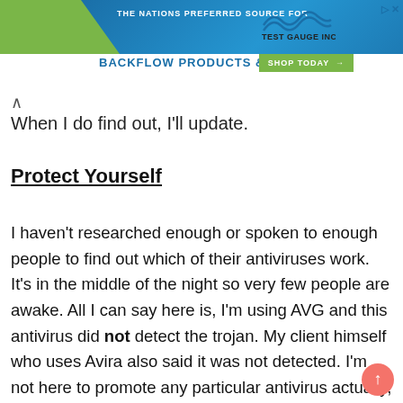[Figure (screenshot): Advertisement banner for Test Gauge Inc. - 'The Nations Preferred Source for Backflow Products & Services' with a 'Shop Today' button and wave graphic]
When I do find out, I'll update.
Protect Yourself
I haven't researched enough or spoken to enough people to find out which of their antiviruses work. It's in the middle of the night so very few people are awake. All I can say here is, I'm using AVG and this antivirus did not detect the trojan. My client himself who uses Avira also said it was not detected. I'm not here to promote any particular antivirus actually, but my client's staff (the one who detected it) used